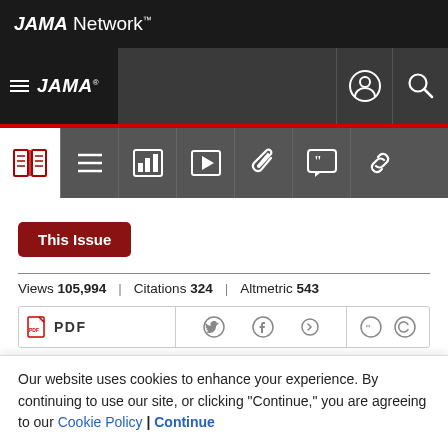JAMA Network
[Figure (screenshot): JAMA Network navigation bar with hamburger menu, JAMA logo, user icon, and search icon]
[Figure (screenshot): Article toolbar with icons: article (book), table of contents (lines), data/charts, video, paperclip/link, quote/citation, chain link]
This Issue
Views 105,994 | Citations 324 | Altmetric 543
[Figure (screenshot): Article action bar with PDF button, social share icons (Twitter, Facebook, more), quote icon, and copyright icon]
Our website uses cookies to enhance your experience. By continuing to use our site, or clicking "Continue," you are agreeing to our Cookie Policy | Continue